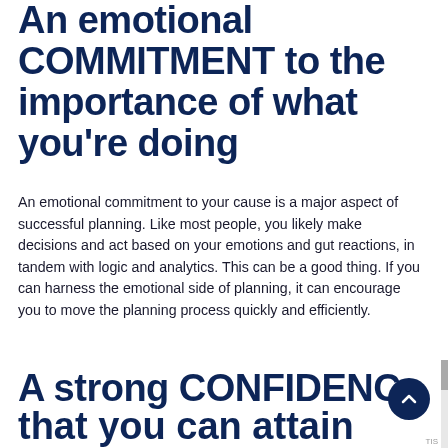An emotional COMMITMENT to the importance of what you're doing
An emotional commitment to your cause is a major aspect of successful planning. Like most people, you likely make decisions and act based on your emotions and gut reactions, in tandem with logic and analytics. This can be a good thing. If you can harness the emotional side of planning, it can encourage you to move the planning process quickly and efficiently.
A strong CONFIDENCE that you can attain